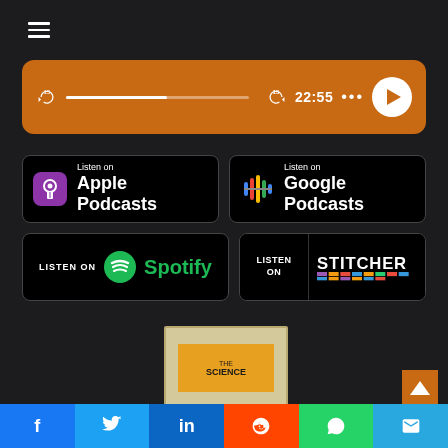[Figure (screenshot): Hamburger menu icon (three horizontal lines) in top left corner on dark background]
[Figure (screenshot): Orange podcast player bar with skip-back 15s button, progress bar, skip-forward 15s button, time display 22:55, ellipsis menu, and white circular play button]
[Figure (logo): Listen on Apple Podcasts badge - black rounded rectangle with purple podcast icon and white text]
[Figure (logo): Listen on Google Podcasts badge - black rounded rectangle with colorful equalizer icon and white text]
[Figure (logo): Listen on Spotify badge - black rounded rectangle with green Spotify logo and text]
[Figure (logo): Listen on Stitcher badge - black rounded rectangle with LISTEN ON on left and STITCHER colorful text on right]
[Figure (photo): Partially visible book cover with text THE SCIENCE at bottom]
[Figure (infographic): Social sharing bar at bottom with Facebook, Twitter, LinkedIn, Reddit, WhatsApp, and Email buttons]